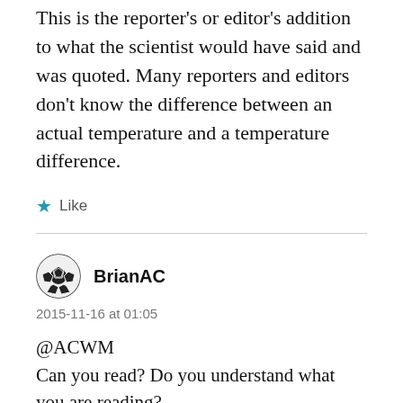This is the reporter's or editor's addition to what the scientist would have said and was quoted. Many reporters and editors don't know the difference between an actual temperature and a temperature difference.
Like
BrianAC
2015-11-16 at 01:05
@ACWM
Can you read? Do you understand what you are reading?
Just to make it absolutely clear to you, the